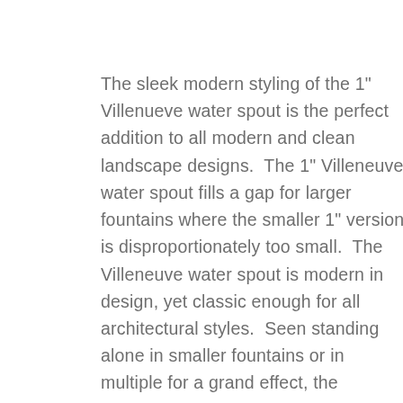The sleek modern styling of the 1" Villenueve water spout is the perfect addition to all modern and clean landscape designs.  The 1" Villeneuve water spout fills a gap for larger fountains where the smaller 1" version is disproportionately too small.  The Villeneuve water spout is modern in design, yet classic enough for all architectural styles.  Seen standing alone in smaller fountains or in multiple for a grand effect, the Villenueve water spout in satin black finish sure to impress no